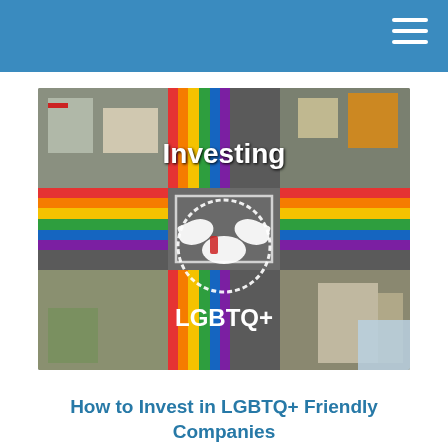[Figure (photo): Aerial view of a rainbow crosswalk intersection from above, with text overlay reading 'Investing' at top, a handshake icon in the center circle, and 'LGBTQ+' at the bottom]
How to Invest in LGBTQ+ Friendly Companies